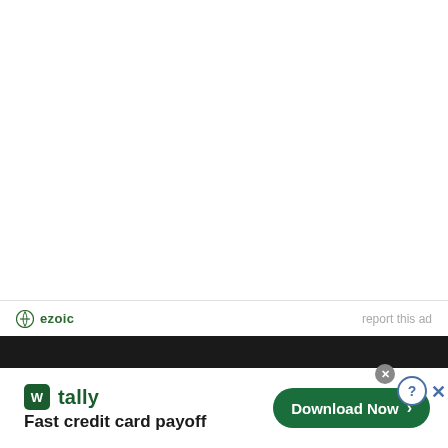[Figure (screenshot): White empty advertisement area in upper portion of page]
ezoic   report this ad
[Figure (screenshot): Tally app advertisement banner: tally logo, 'Fast credit card payoff' tagline, and 'Download Now' button with close controls]